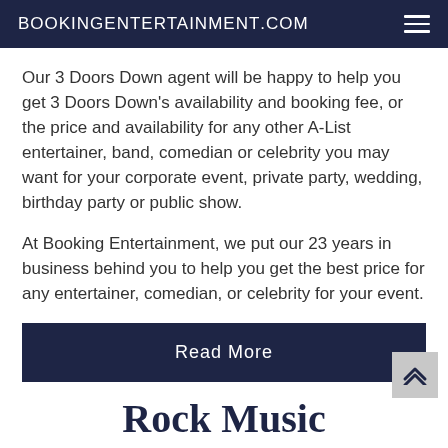BOOKINGENTERTAINMENT.COM
Our 3 Doors Down agent will be happy to help you get 3 Doors Down's availability and booking fee, or the price and availability for any other A-List entertainer, band, comedian or celebrity you may want for your corporate event, private party, wedding, birthday party or public show.
At Booking Entertainment, we put our 23 years in business behind you to help you get the best price for any entertainer, comedian, or celebrity for your event.
Read More
Rock Music